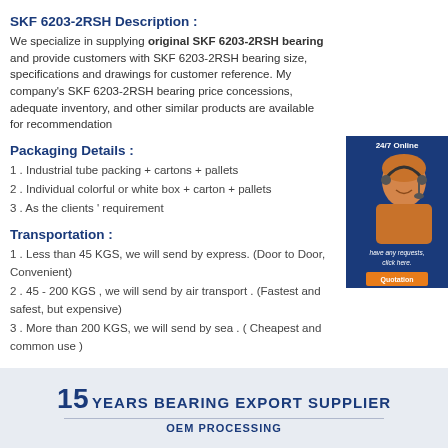SKF 6203-2RSH Description :
We specialize in supplying original SKF 6203-2RSH bearing and provide customers with SKF 6203-2RSH bearing size, specifications and drawings for customer reference. My company's SKF 6203-2RSH bearing price concessions, adequate inventory, and other similar products are available for recommendation
Packaging Details :
1 . Industrial tube packing + cartons + pallets
2 . Individual colorful or white box + carton + pallets
3 . As the clients ' requirement
[Figure (photo): Customer service representative with headset, 24/7 Online banner, with Quotation button]
Transportation :
1 . Less than 45 KGS, we will send by express. (Door to Door, Convenient)
2 . 45 - 200 KGS , we will send by air transport . (Fastest and safest, but expensive)
3 . More than 200 KGS, we will send by sea . ( Cheapest and common use )
[Figure (infographic): 15 YEARS BEARING EXPORT SUPPLIER banner with OEM PROCESSING subtitle]